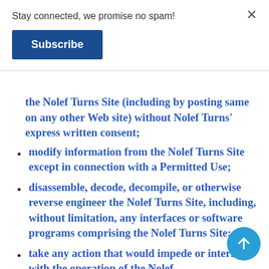Stay connected, we promise no spam!
Subscribe
the Nolef Turns Site (including by posting same on any other Web site) without Nolef Turns’ express written consent;
modify information from the Nolef Turns Site except in connection with a Permitted Use;
disassemble, decode, decompile, or otherwise reverse engineer the Nolef Turns Site, including, without limitation, any interfaces or software programs comprising the Nolef Turns Site;
take any action that would impede or interfere with the operation of the Nolef